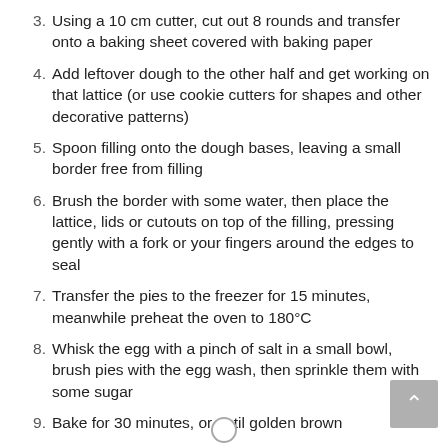3. Using a 10 cm cutter, cut out 8 rounds and transfer onto a baking sheet covered with baking paper
4. Add leftover dough to the other half and get working on that lattice (or use cookie cutters for shapes and other decorative patterns)
5. Spoon filling onto the dough bases, leaving a small border free from filling
6. Brush the border with some water, then place the lattice, lids or cutouts on top of the filling, pressing gently with a fork or your fingers around the edges to seal
7. Transfer the pies to the freezer for 15 minutes, meanwhile preheat the oven to 180°C
8. Whisk the egg with a pinch of salt in a small bowl, brush pies with the egg wash, then sprinkle them with some sugar
9. Bake for 30 minutes, or until golden brown